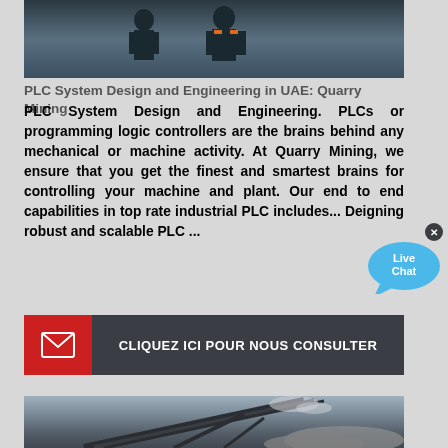[Figure (photo): Workers in hard hats and safety gear, overhead view]
PLC System Design and Engineering in UAE: Quarry Mining
PLC System Design and Engineering. PLCs or programming logic controllers are the brains behind any mechanical or machine activity. At Quarry Mining, we ensure that you get the finest and smartest brains for controlling your machine and plant. Our end to end capabilities in top rate industrial PLC includes... Deigning robust and scalable PLC ...
[Figure (illustration): Live Chat bubble widget with X close button]
[Figure (other): Button: CLIQUEZ ICI POUR NOUS CONSULTER with email icon on red background]
[Figure (photo): Quarry mining conveyor belt machinery with dust and rocks]